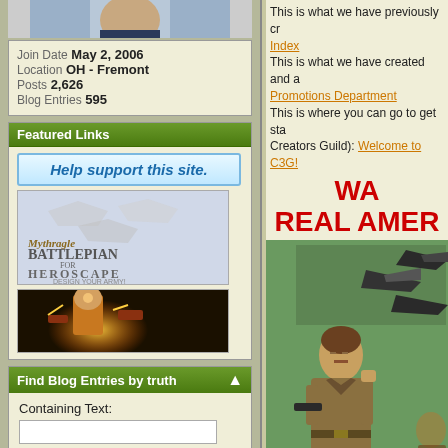[Figure (photo): Cropped avatar/profile image at top of left column]
Join Date May 2, 2006
Location OH - Fremont
Posts 2,626
Blog Entries 595
Featured Links
[Figure (screenshot): Help support this site button - blue gradient button]
[Figure (screenshot): Mythragle Battlepan for Heroscape - Design your army! advertisement]
[Figure (illustration): Comic-book style hero character with lightning]
Find Blog Entries by truth
Containing Text:
Search Titles Only
Advanced Search
This is what we have previously cr
Index
This is what we have created and a
Promotions Department
This is where you can go to get sta
Creators Guild): Welcome to C3G!
WA
REAL AMER
[Figure (illustration): Comic book illustration of a soldier holding a gun with military jets flying overhead, green-tinted art style]